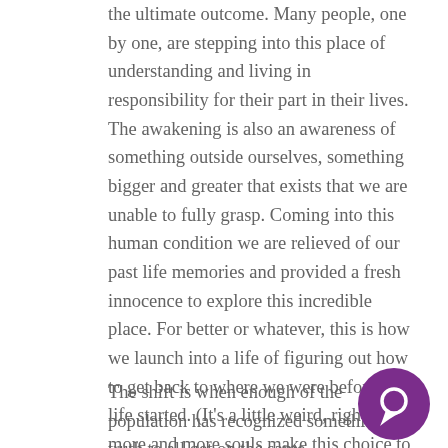the ultimate outcome. Many people, one by one, are stepping into this place of understanding and living in responsibility for their part in their lives. The awakening is also an awareness of something outside ourselves, something bigger and greater that exists that we are unable to fully grasp. Coming into this human condition we are relieved of our past life memories and provided a fresh innocence to explore this incredible place. For better or whatever, this is how we launch into a life of figuring out how to get back to where we were before the life started. (It's a little weird, right?) As more and more souls make this choice to live this responsibility the shift is initiated.
The shift is when enough of the population has recognized something as truth to all get on the same
[Figure (other): Purple circular chat bubble icon in the bottom right corner]